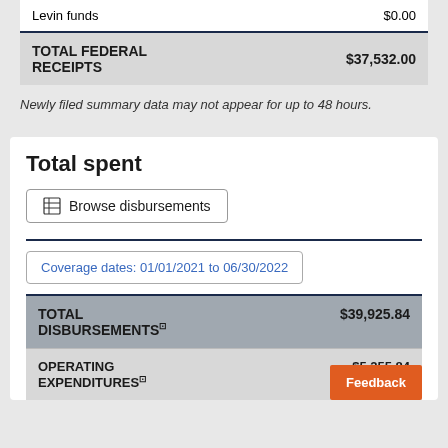|  |  |
| --- | --- |
| Levin funds | $0.00 |
| TOTAL FEDERAL RECEIPTS | $37,532.00 |
Newly filed summary data may not appear for up to 48 hours.
Total spent
Browse disbursements
Coverage dates: 01/01/2021 to 06/30/2022
|  |  |
| --- | --- |
| TOTAL DISBURSEMENTS | $39,925.84 |
| OPERATING EXPENDITURES | $5,255.84 |
Feedback